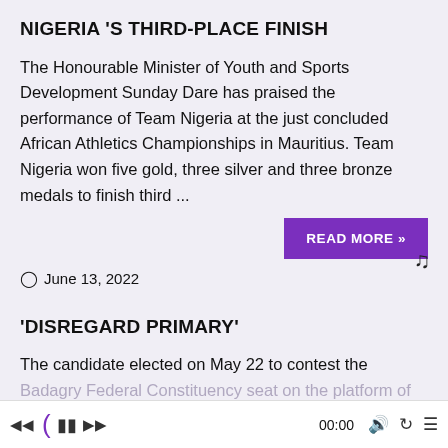NIGERIA 'S THIRD-PLACE FINISH
The Honourable Minister of Youth and Sports Development Sunday Dare has praised the performance of Team Nigeria at the just concluded African Athletics Championships in Mauritius. Team Nigeria won five gold, three silver and three bronze medals to finish third ...
READ MORE »
June 13, 2022
'DISREGARD PRIMARY'
The candidate elected on May 22 to contest the Badagry Federal Constituency seat on the platform of Peoples Democratic Party (PDP), Mr. Olaolu Toviho, has urged the constituents to disregard the